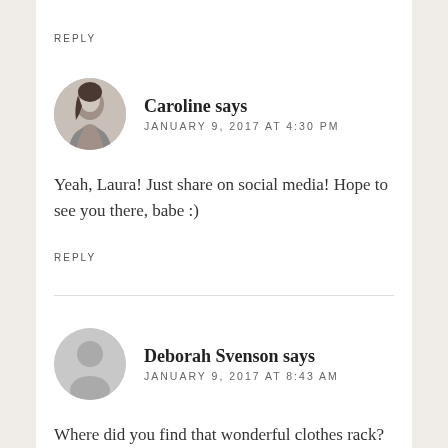REPLY
Caroline says
JANUARY 9, 2017 AT 4:30 PM
Yeah, Laura! Just share on social media! Hope to see you there, babe :)
REPLY
Deborah Svenson says
JANUARY 9, 2017 AT 8:43 AM
Where did you find that wonderful clothes rack? It is